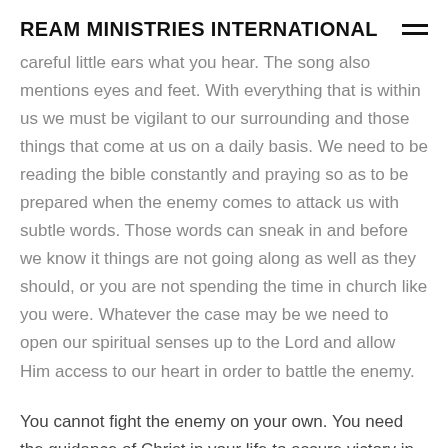REAM MINISTRIES INTERNATIONAL
careful little ears what you hear. The song also mentions eyes and feet. With everything that is within us we must be vigilant to our surrounding and those things that come at us on a daily basis. We need to be reading the bible constantly and praying so as to be prepared when the enemy comes to attack us with subtle words. Those words can sneak in and before we know it things are not going along as well as they should, or you are not spending the time in church like you were. Whatever the case may be we need to open our spiritual senses up to the Lord and allow Him access to our heart in order to battle the enemy.
You cannot fight the enemy on your own. You need the guidance of Christ in your life to assure victory in your